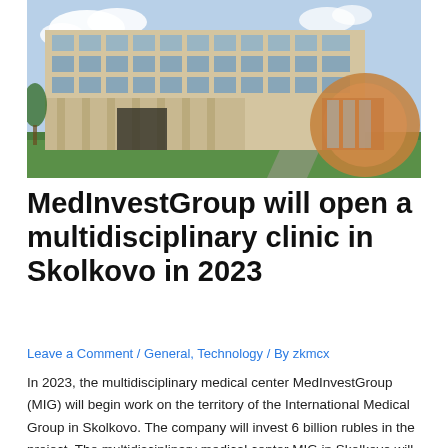[Figure (photo): Exterior rendering of a modern multi-story medical clinic building with large windows, beige and glass facade, green lawn in foreground, blue sky with clouds in background.]
MedInvestGroup will open a multidisciplinary clinic in Skolkovo in 2023
Leave a Comment / General, Technology / By zkmcx
In 2023, the multidisciplinary medical center MedInvestGroup (MIG) will begin work on the territory of the International Medical Group in Skolkovo. The company will invest 6 billion rubles in the project. The multidisciplinary medical center MIG in Skolkovo will